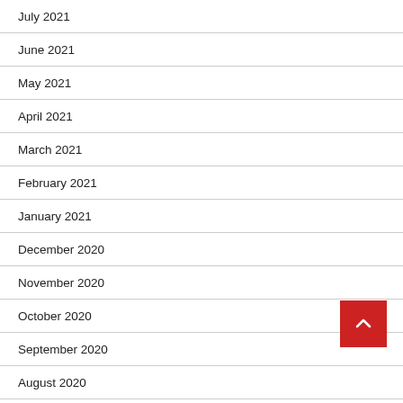July 2021
June 2021
May 2021
April 2021
March 2021
February 2021
January 2021
December 2020
November 2020
October 2020
September 2020
August 2020
July 2020